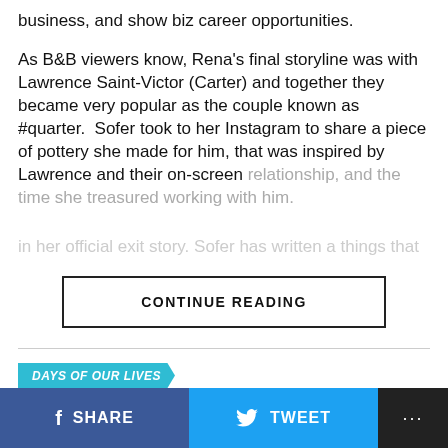business, and show biz career opportunities.
As B&B viewers know, Rena’s final storyline was with Lawrence Saint-Victor (Carter) and together they became very popular as the couple known as #quarter.  Sofer took to her Instagram to share a piece of pottery she made for him, that was inspired by Lawrence and their on-screen relationship, and the time she treasured working with him.
CONTINUE READING
DAYS OF OUR LIVES
DAYS Zach Tinker in ‘Big Sky: Deadly
SHARE
TWEET